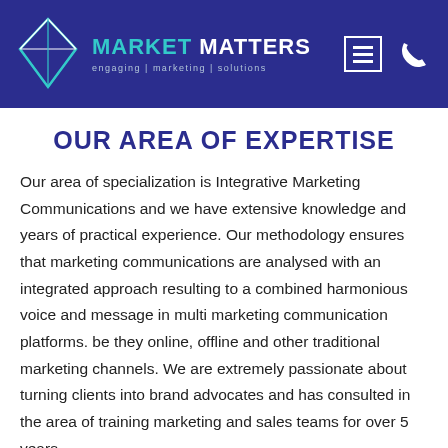MARKET MATTERS engaging | marketing | solutions
OUR AREA OF EXPERTISE
Our area of specialization is Integrative Marketing Communications and we have extensive knowledge and years of practical experience. Our methodology ensures that marketing communications are analysed with an integrated approach resulting to a combined harmonious voice and message in multi marketing communication platforms. be they online, offline and other traditional marketing channels. We are extremely passionate about turning clients into brand advocates and has consulted in the area of training marketing and sales teams for over 5 years.